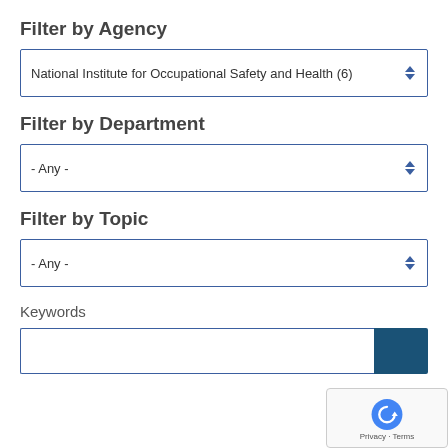Filter by Agency
National Institute for Occupational Safety and Health (6)
Filter by Department
- Any -
Filter by Topic
- Any -
Keywords